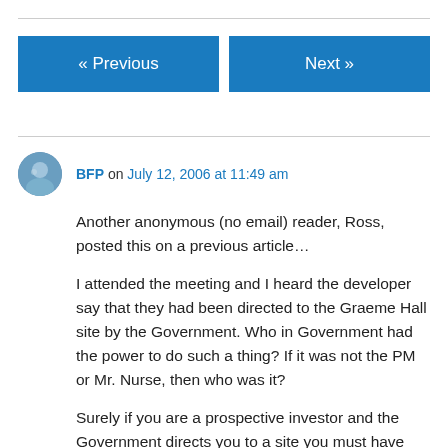[Figure (other): Navigation buttons: « Previous and Next »]
BFP on July 12, 2006 at 11:49 am
Another anonymous (no email) reader, Ross, posted this on a previous article…
I attended the meeting and I heard the developer say that they had been directed to the Graeme Hall site by the Government. Who in Government had the power to do such a thing? If it was not the PM or Mr. Nurse, then who was it?
Surely if you are a prospective investor and the Government directs you to a site you must have